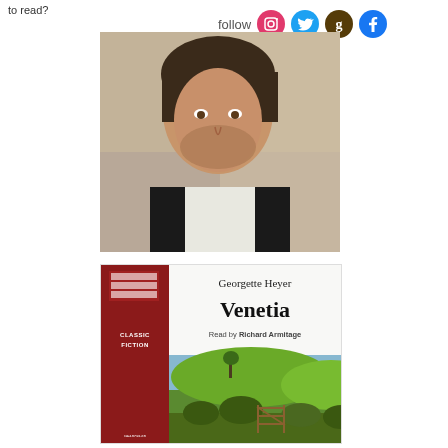to read?
follow
[Figure (photo): Headshot of a man with dark hair, wearing a black vest over a white shirt, looking to the side]
[Figure (photo): Audiobook cover for 'Venetia' by Georgette Heyer, read by Richard Armitage. Classic Fiction label. Image shows a rural English countryside scene with green hills, hedgerows, and a wooden gate.]